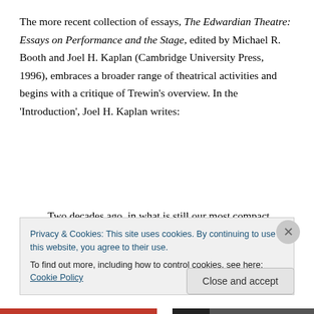The more recent collection of essays, The Edwardian Theatre: Essays on Performance and the Stage, edited by Michael R. Booth and Joel H. Kaplan (Cambridge University Press, 1996), embraces a broader range of theatrical activities and begins with a critique of Trewin's overview. In the 'Introduction', Joel H. Kaplan writes:
Two decades ago, in what is still our most compact guide to the drama of the period, J.C. Trewin likened the Edwardian stage to a house, its principal rooms chambers for compartmentalising that era's theatrical
Privacy & Cookies: This site uses cookies. By continuing to use this website, you agree to their use.
To find out more, including how to control cookies, see here: Cookie Policy